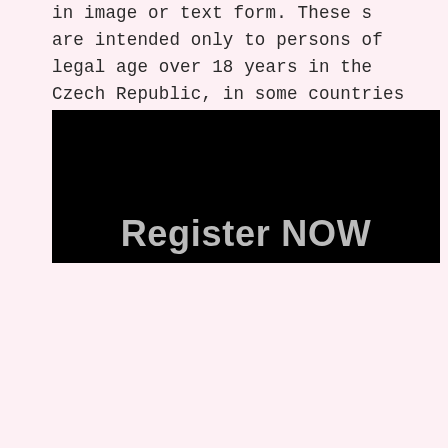in image or text form. These s are intended only to persons of legal age over 18 years in the Czech Republic, in some countries over 21, according to national law.
[Figure (screenshot): Black banner/image with 'Register NOW' text partially visible at the bottom in grey.]